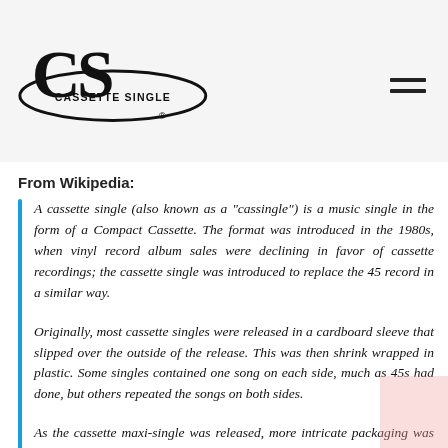[Figure (logo): Cassette Single (CS) logo with oval border and registered trademark symbol]
From Wikipedia:
A cassette single (also known as a "cassingle") is a music single in the form of a Compact Cassette. The format was introduced in the 1980s, when vinyl record album sales were declining in favor of cassette recordings; the cassette single was introduced to replace the 45 record in a similar way.
Originally, most cassette singles were released in a cardboard sleeve that slipped over the outside of the release. This was then shrink wrapped in plastic. Some singles contained one song on each side, much as 45s had done, but others repeated the songs on both sides.
As the cassette maxi-single was released, more intricate packaging was incorporated that looked similar to the packaging of a regular cassette release. These were placed